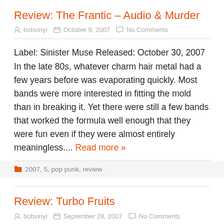Review: The Frantic – Audio & Murder
bobvinyl  October 9, 2007  No Comments
Label: Sinister Muse Released: October 30, 2007 In the late 80s, whatever charm hair metal had a few years before was evaporating quickly. Most bands were more interested in fitting the mold than in breaking it. Yet there were still a few bands that worked the formula well enough that they were fun even if they were almost entirely meaningless.... Read more »
2007, 5, pop punk, review
Review: Turbo Fruits
bobvinyl  September 28, 2007  No Comments